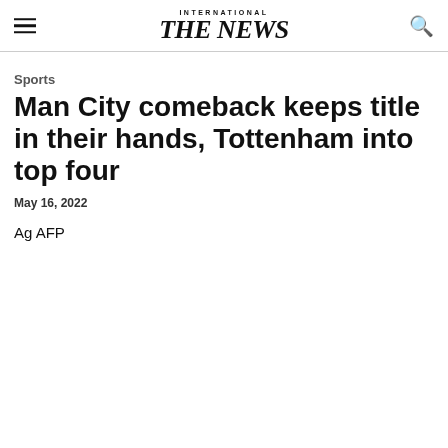INTERNATIONAL THE NEWS
Sports
Man City comeback keeps title in their hands, Tottenham into top four
May 16, 2022
Ag AFP